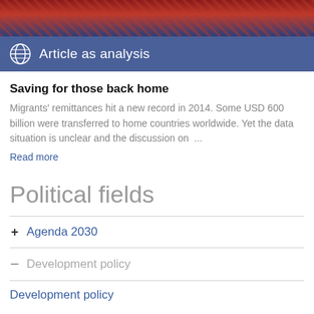[Figure (photo): Decorative banner image with reddish-blue gradient background]
Article as analysis
Saving for those back home
Migrants' remittances hit a new record in 2014. Some USD 600 billion were transferred to home countries worldwide. Yet the data situation is unclear and the discussion on  …
Read more
Political fields
+ Agenda 2030
− Development policy
Development policy